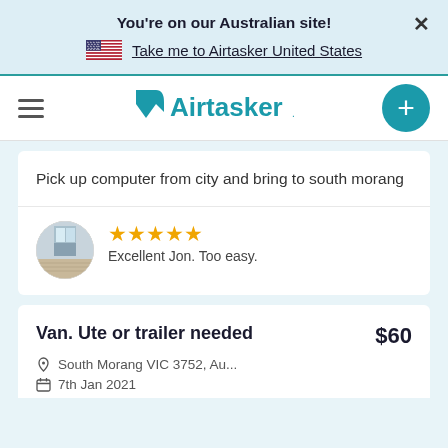You're on our Australian site!
Take me to Airtasker United States
[Figure (logo): Airtasker logo with teal arrow and wordmark]
Pick up computer from city and bring to south morang
[Figure (photo): Circular avatar photo showing a room interior]
★★★★★ Excellent Jon. Too easy.
Van. Ute or trailer needed
$60
South Morang VIC 3752, Au...
7th Jan 2021